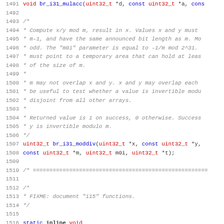Source code listing lines 1491-1522 showing C function declarations including br_i31_mulacc, br_i31_moddiv, and br_i15_zero with associated comments